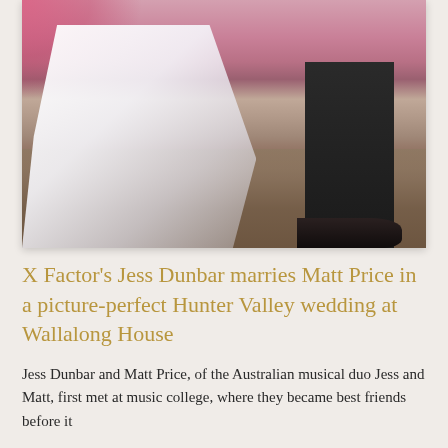[Figure (photo): Wedding photo showing the lower half of a bride in a flowing white gown with a long train and a groom in dark trousers and black dress shoes, standing on a grassy/sandy ground with pink smoke or floral decoration in the background.]
X Factor's Jess Dunbar marries Matt Price in a picture-perfect Hunter Valley wedding at Wallalong House
Jess Dunbar and Matt Price, of the Australian musical duo Jess and Matt, first met at music college, where they became best friends before it